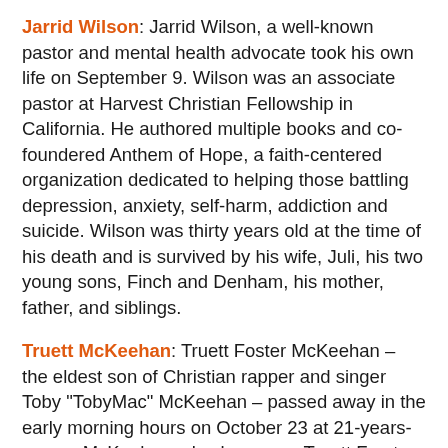Jarrid Wilson: Jarrid Wilson, a well-known pastor and mental health advocate took his own life on September 9. Wilson was an associate pastor at Harvest Christian Fellowship in California. He authored multiple books and co-foundered Anthem of Hope, a faith-centered organization dedicated to helping those battling depression, anxiety, self-harm, addiction and suicide. Wilson was thirty years old at the time of his death and is survived by his wife, Juli, his two young sons, Finch and Denham, his mother, father, and siblings.
Truett McKeehan: Truett Foster McKeehan – the eldest son of Christian rapper and singer Toby "TobyMac" McKeehan – passed away in the early morning hours on October 23 at 21-years-young. McKeehan, also known as Truett Forster, TRU, truDogg and Shiloh online, was a budding rapper in the secular scene. He had released a number of independent songs as well as collaborated with his father on several his albums including DC Talk's Solo EP, Momentum, Re:Mix Momentum, Welcome to Diverse City, Portable Sounds, Tonight and Eye on It.